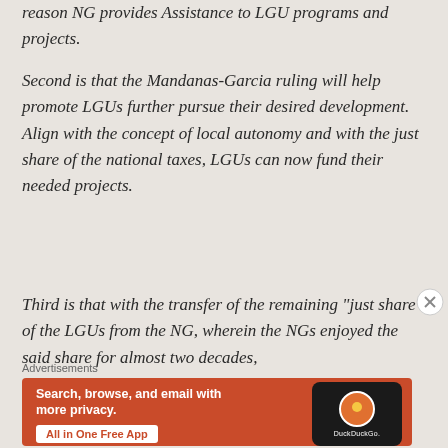reason NG provides Assistance to LGU programs and projects.
Second is that the Mandanas-Garcia ruling will help promote LGUs further pursue their desired development. Align with the concept of local autonomy and with the just share of the national taxes, LGUs can now fund their needed projects.
Third is that with the transfer of the remaining “just share” of the LGUs from the NG, wherein the NGs enjoyed the said share for almost two decades,
Advertisements
[Figure (other): DuckDuckGo advertisement banner: 'Search, browse, and email with more privacy. All in One Free App' with DuckDuckGo logo and phone graphic on orange/red background.]